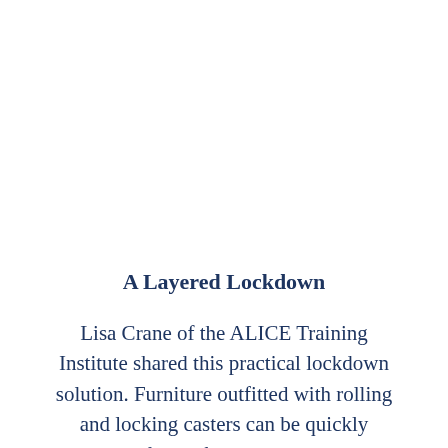A Layered Lockdown
Lisa Crane of the ALICE Training Institute shared this practical lockdown solution. Furniture outfitted with rolling and locking casters can be quickly rolled in front of a locked, classroom door.